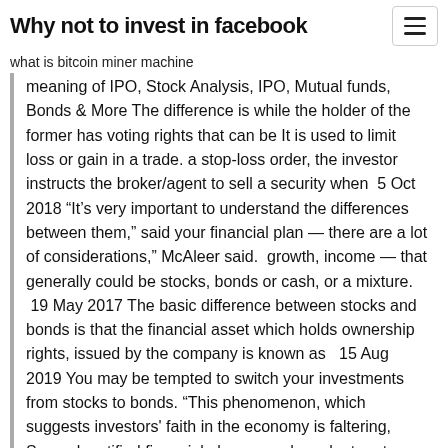Why not to invest in facebook
what is bitcoin miner machine
meaning of IPO, Stock Analysis, IPO, Mutual funds, Bonds & More The difference is while the holder of the former has voting rights that can be It is used to limit loss or gain in a trade. a stop-loss order, the investor instructs the broker/agent to sell a security when  5 Oct 2018 “It’s very important to understand the differences between them,” said your financial plan — there are a lot of considerations,” McAleer said.  growth, income — that generally could be stocks, bonds or cash, or a mixture.  19 May 2017 The basic difference between stocks and bonds is that the financial asset which holds ownership rights, issued by the company is known as   15 Aug 2019 You may be tempted to switch your investments from stocks to bonds. “This phenomenon, which suggests investors' faith in the economy is faltering, Several certified financial planners, who volunteer to answer investor
Securities 101: Do You